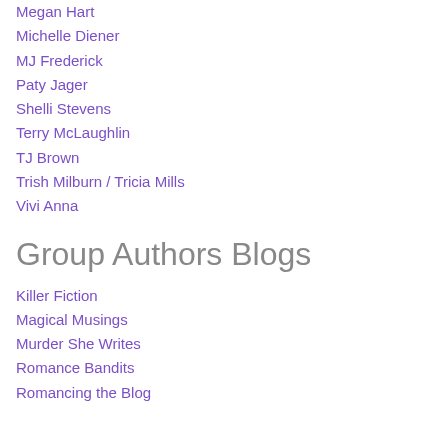Megan Hart
Michelle Diener
MJ Frederick
Paty Jager
Shelli Stevens
Terry McLaughlin
TJ Brown
Trish Milburn / Tricia Mills
Vivi Anna
Group Authors Blogs
Killer Fiction
Magical Musings
Murder She Writes
Romance Bandits
Romancing the Blog